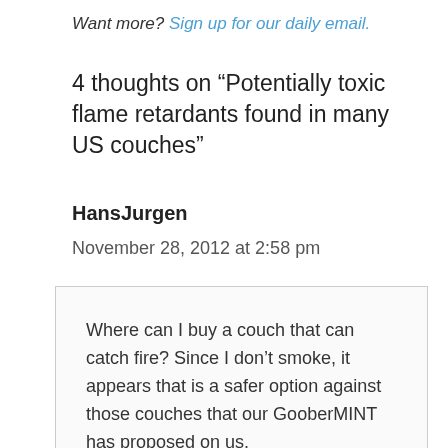Want more? Sign up for our daily email.
4 thoughts on “Potentially toxic flame retardants found in many US couches”
HansJurgen
November 28, 2012 at 2:58 pm
Where can I buy a couch that can catch fire? Since I don’t smoke, it appears that is a safer option against those couches that our GooberMINT has proposed on us.